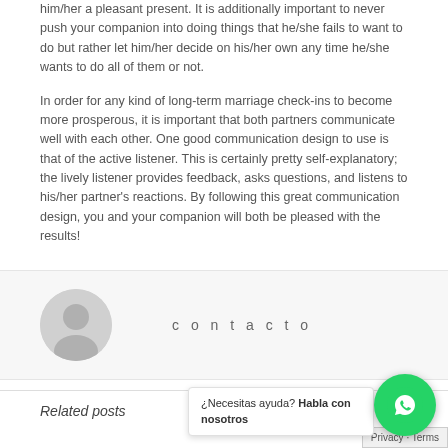him/her a pleasant present. It is additionally important to never push your companion into doing things that he/she fails to want to do but rather let him/her decide on his/her own any time he/she wants to do all of them or not.
In order for any kind of long-term marriage check-ins to become more prosperous, it is important that both partners communicate well with each other. One good communication design to use is that of the active listener. This is certainly pretty self-explanatory; the lively listener provides feedback, asks questions, and listens to his/her partner's reactions. By following this great communication design, you and your companion will both be pleased with the results!
[Figure (illustration): Grey circular avatar/profile icon placeholder]
contacto
Related posts
¿Necesitas ayuda? Habla con nosotros